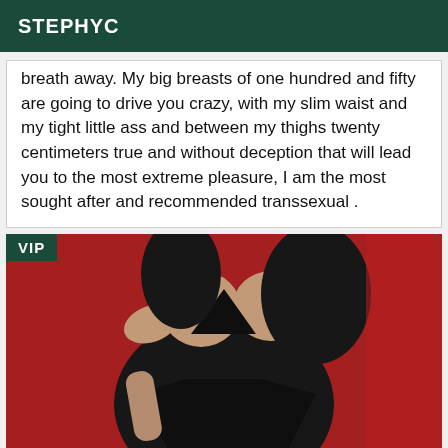STEPHYC
breath away. My big breasts of one hundred and fifty are going to drive you crazy, with my slim waist and my tight little ass and between my thighs twenty centimeters true and without deception that will lead you to the most extreme pleasure, I am the most sought after and recommended transsexual .
[Figure (photo): Person wearing a black dress against a red background, VIP badge in top-left corner]